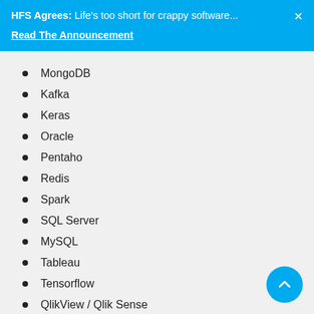HFS Agrees: Life's too short for crappy software...
Read The Announcement
MongoDB
Kafka
Keras
Oracle
Pentaho
Redis
Spark
SQL Server
MySQL
Tableau
Tensorflow
QlikView / Qlik Sense